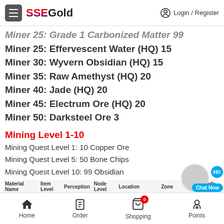SSEGold — Login / Register
Miner 25: Effervescent Water (HQ) 15
Miner 30: Wyvern Obsidian (HQ) 15
Miner 35: Raw Amethyst (HQ) 20
Miner 40: Jade (HQ) 20
Miner 45: Electrum Ore (HQ) 20
Miner 50: Darksteel Ore 3
Mining Level 1-10
Mining Quest Level 1: 10 Copper Ore
Mining Quest Level 5: 50 Bone Chips
Mining Quest Level 10: 99 Obsidian
| Material Name | Item Level | Perception | Node Level | Location | Zone | Node ID |
| --- | --- | --- | --- | --- | --- | --- |
| Tin Ore | 05 | 23 | 10 | The East Hammer | Western Thanalan |  |
| Zinc Ore | 09 | 26 | 10 | The East Hammer | Western Thanalan |  |
| Soiled Femur | 08 | 26 | 10 | The East Hammer | Western Thana... |  |
| Water Shard | 01 | 0 | 10 | The East Hammer | Western Tha... |  |
| Obsidian | 10 |  | 10 | The East Hammer | Western Th... |  |
Home  Order  Shopping  Points